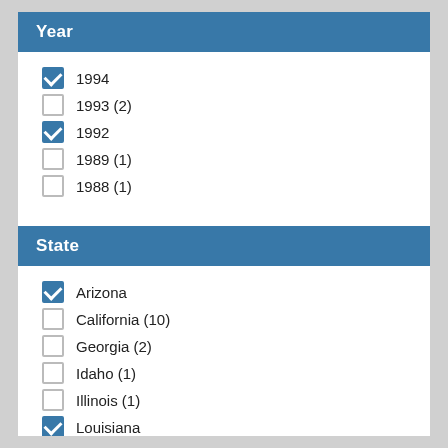Year
1994
1993 (2)
1992
1989 (1)
1988 (1)
State
Arizona
California (10)
Georgia (2)
Idaho (1)
Illinois (1)
Louisiana
Maryland (5)
Massachusetts (5)
Michigan (2)
Minnesota (1)